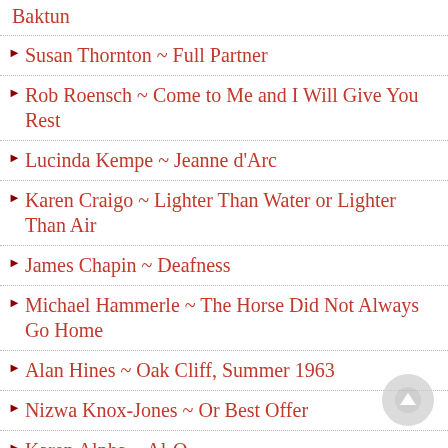Baktun
Susan Thornton ~ Full Partner
Rob Roensch ~ Come to Me and I Will Give You Rest
Lucinda Kempe ~ Jeanne d'Arc
Karen Craigo ~ Lighter Than Water or Lighter Than Air
James Chapin ~ Deafness
Michael Hammerle ~ The Horse Did Not Always Go Home
Alan Hines ~ Oak Cliff, Summer 1963
Nizwa Knox-Jones ~ Or Best Offer
Karen Alpha ~ Al-Q.
Clara Spars ~ Domino
Simon Perchik ~ Five Poems